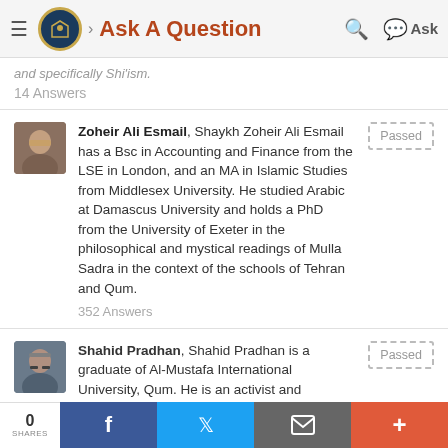Ask A Question
and specifically Shi'ism.
14 Answers
Zoheir Ali Esmail, Shaykh Zoheir Ali Esmail has a Bsc in Accounting and Finance from the LSE in London, and an MA in Islamic Studies from Middlesex University. He studied Arabic at Damascus University and holds a PhD from the University of Exeter in the philosophical and mystical readings of Mulla Sadra in the context of the schools of Tehran and Qum. 352 Answers
Shahid Pradhan, Shahid Pradhan is a graduate of Al-Mustafa International University, Qum. He is an activist and interested in Indian and international political and social issues.